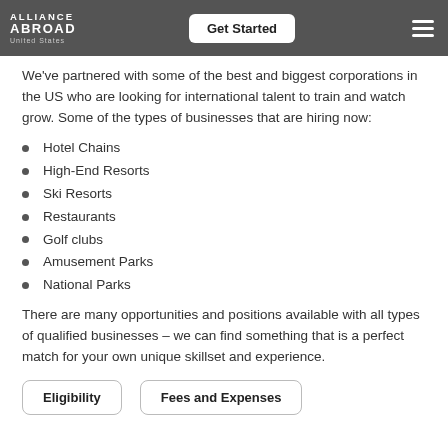Alliance Abroad United States | Get Started
We've partnered with some of the best and biggest corporations in the US who are looking for international talent to train and watch grow. Some of the types of businesses that are hiring now:
Hotel Chains
High-End Resorts
Ski Resorts
Restaurants
Golf clubs
Amusement Parks
National Parks
There are many opportunities and positions available with all types of qualified businesses – we can find something that is a perfect match for your own unique skillset and experience.
Eligibility | Fees and Expenses